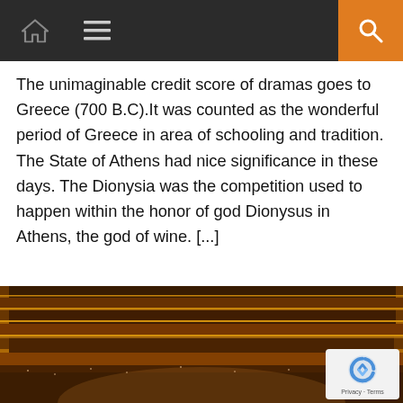Navigation bar with home icon, hamburger menu, and search icon
The unimaginable credit score of dramas goes to Greece (700 B.C).It was counted as the wonderful period of Greece in area of schooling and tradition. The State of Athens had nice significance in these days. The Dionysia was the competition used to happen within the honor of god Dionysus in Athens, the god of wine. [...]
[Figure (photo): Interior of a grand theatre with multiple balcony tiers filled with a large audience. The theatre has ornate gold decorations, red curtains, and multiple levels of seating packed with people.]